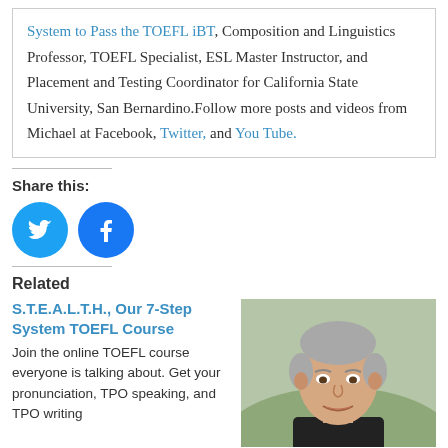System to Pass the TOEFL iBT, Composition and Linguistics Professor, TOEFL Specialist, ESL Master Instructor, and Placement and Testing Coordinator for California State University, San Bernardino.Follow more posts and videos from Michael at Facebook, Twitter, and You Tube.
Share this:
[Figure (other): Twitter share button (blue circle with bird icon) and Facebook share button (blue circle with f icon)]
Related
S.T.E.A.L.T.H., Our 7-Step System TOEFL Course
Join the online TOEFL course everyone is talking about. Get your pronunciation, TPO speaking, and TPO writing
[Figure (photo): Headshot of Michael Buckhoff, a middle-aged man with grey hair, smiling outdoors]
Michael Buckhoff
December 5, 2018